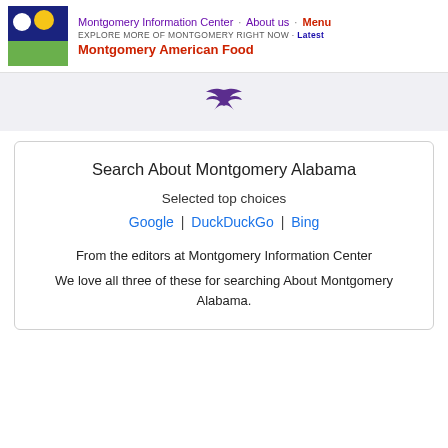Montgomery Information Center · About us · Menu
EXPLORE MORE OF MONTGOMERY RIGHT NOW · Latest
Montgomery American Food
[Figure (illustration): Dark purple bird/swallow silhouette icon centered on gray background]
Search About Montgomery Alabama
Selected top choices
Google | DuckDuckGo | Bing
From the editors at Montgomery Information Center
We love all three of these for searching About Montgomery Alabama.